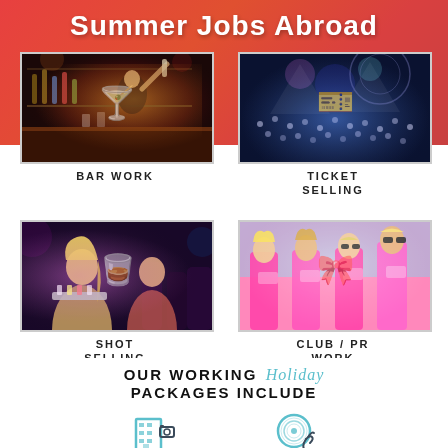Summer Jobs Abroad
[Figure (photo): Bartender at work in nightclub - BAR WORK]
BAR WORK
[Figure (photo): Aerial view of crowd/concert venue - TICKET SELLING]
TICKET SELLING
[Figure (photo): Girls selling shots at nightclub - SHOT SELLING]
SHOT SELLING
[Figure (photo): Girls in pink outfits for club PR work - CLUB / PR WORK]
CLUB / PR WORK
OUR WORKING PACKAGES INCLUDE Holiday
[Figure (illustration): Building/accommodation icon - 1 MONTHS ACCOMMODATION]
1 MONTHS ACCOMMODATION
[Figure (illustration): Vinyl/party icon - EXCLUSIVE PARTIES]
EXCLUSIVE PARTIES